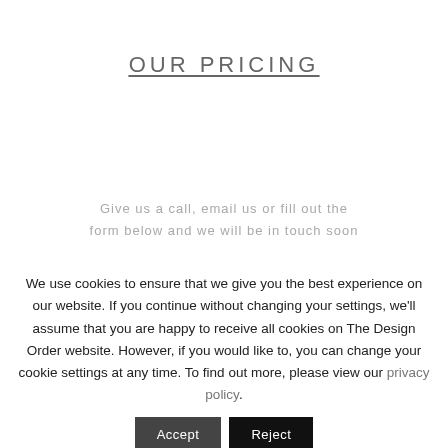OUR PRICING
Give us a call, email us or fill out the form below and we will be in touch soon
We use cookies to ensure that we give you the best experience on our website. If you continue without changing your settings, we'll assume that you are happy to receive all cookies on The Design Order website. However, if you would like to, you can change your cookie settings at any time. To find out more, please view our privacy policy.